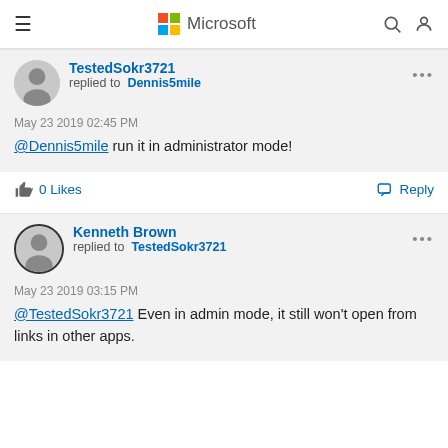Microsoft
TestedSokr3721 replied to Dennis5mile
May 23 2019 02:45 PM
@Dennis5mile run it in administrator mode!
0 Likes
Reply
Kenneth Brown replied to TestedSokr3721
May 23 2019 03:15 PM
@TestedSokr3721 Even in admin mode, it still won't open from links in other apps.